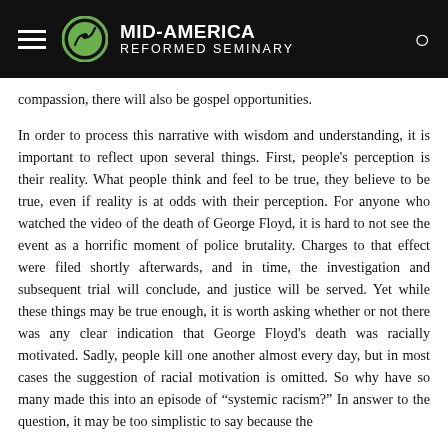Mid-America Reformed Seminary
compassion, there will also be gospel opportunities.
In order to process this narrative with wisdom and understanding, it is important to reflect upon several things. First, people’s perception is their reality. What people think and feel to be true, they believe to be true, even if reality is at odds with their perception. For anyone who watched the video of the death of George Floyd, it is hard to not see the event as a horrific moment of police brutality. Charges to that effect were filed shortly afterwards, and in time, the investigation and subsequent trial will conclude, and justice will be served. Yet while these things may be true enough, it is worth asking whether or not there was any clear indication that George Floyd’s death was racially motivated. Sadly, people kill one another almost every day, but in most cases the suggestion of racial motivation is omitted. So why have so many made this into an episode of “systemic racism?” In answer to the question, it may be too simplistic to say because the